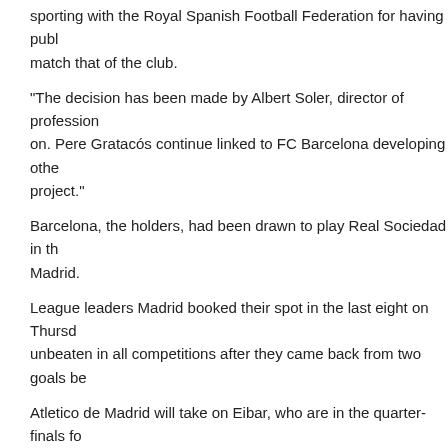sporting with the Royal Spanish Football Federation for having published a match that of the club.
“The decision has been made by Albert Soler, director of professional sport on. Pere Gratacos continue linked to FC Barcelona developing other project.”
Barcelona, the holders, had been drawn to play Real Sociedad in the Madrid.
League leaders Madrid booked their spot in the last eight on Thursday unbeaten in all competitions after they came back from two goals be
Atletico de Madrid will take on Eibar, who are in the quarter-finals fo only team from outside the top flight left in the competition, face Alav
The ties will be played over two legs with the opening matches on J take place on May 27.
##############
Leave a Reply
You must be logged in to post a comment.